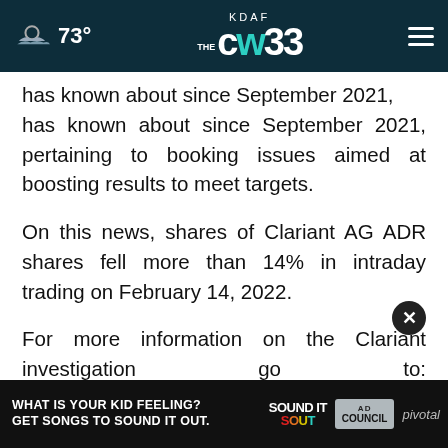73° KDAF CW33
has known about since September 2021, pertaining to booking issues aimed at boosting results to meet targets.
On this news, shares of Clariant AG ADR shares fell more than 14% in intraday trading on February 14, 2022.
For more information on the Clariant investigation go to: https://bespc.com/cases/CLZNY
[Figure (other): Advertisement banner: WHAT IS YOUR KID FEELING? GET SONGS TO SOUND IT OUT. Sound It Out ad with Ad Council and pivotal logos.]